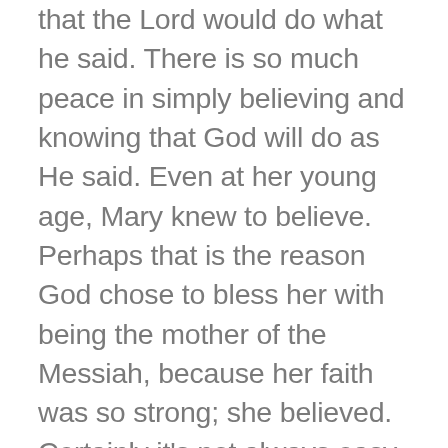that the Lord would do what he said. There is so much peace in simply believing and knowing that God will do as He said. Even at her young age, Mary knew to believe. Perhaps that is the reason God chose to bless her with being the mother of the Messiah, because her faith was so strong; she believed. Certainly it's not always easy to rest and believe in God's promises. When you believe- really, fully trust- that God will do as He says, you will experience a deep abiding peace, faith, and belief that bless you. You will know His presence and power in a way that will amaze everyone.